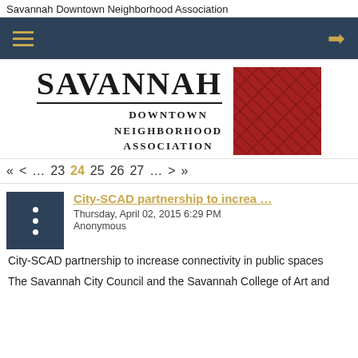Savannah Downtown Neighborhood Association
[Figure (logo): Savannah Downtown Neighborhood Association logo with brick pattern graphic]
« < … 23 24 25 26 27 … > »
City-SCAD partnership to increa …
Thursday, April 02, 2015 6:29 PM
Anonymous
City-SCAD partnership to increase connectivity in public spaces
The Savannah City Council and the Savannah College of Art and